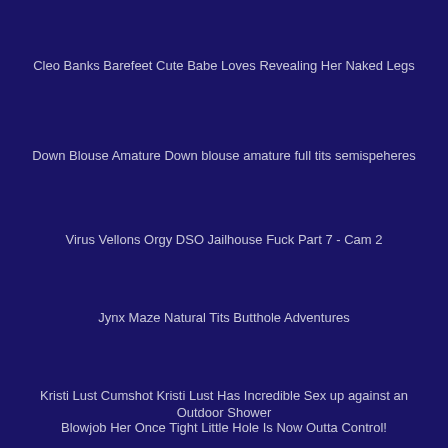Cleo Banks Barefeet Cute Babe Loves Revealing Her Naked Legs
Down Blouse Amature Down blouse amature full tits semispeheres
Virus Vellons Orgy DSO Jailhouse Fuck Part 7 - Cam 2
Jynx Maze Natural Tits Butthole Adventures
Kristi Lust Cumshot Kristi Lust Has Incredible Sex up against an Outdoor Shower
Blowjob Her Once Tight Little Hole Is Now Outta Control!